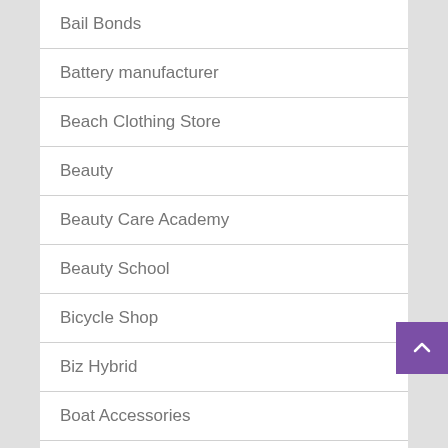Bail Bonds
Battery manufacturer
Beach Clothing Store
Beauty
Beauty Care Academy
Beauty School
Bicycle Shop
Biz Hybrid
Boat Accessories
Boat Dealership
Boat Rental Service